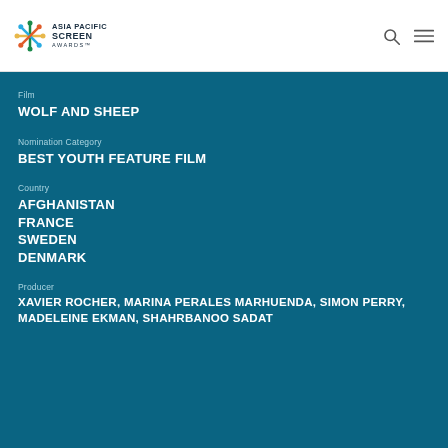Asia Pacific Screen Awards
Film
WOLF AND SHEEP
Nomination Category
BEST YOUTH FEATURE FILM
Country
AFGHANISTAN
FRANCE
SWEDEN
DENMARK
Producer
XAVIER ROCHER, MARINA PERALES MARHUENDA, SIMON PERRY, MADELEINE EKMAN, SHAHRBANOO SADAT